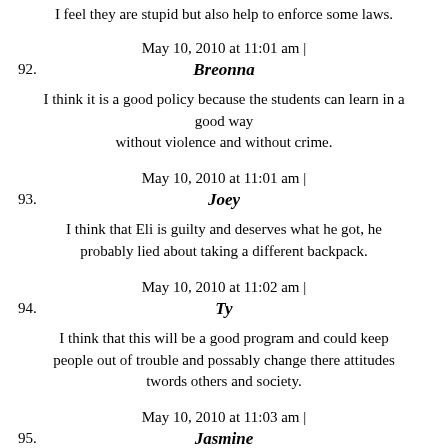I feel they are stupid but also help to enforce some laws.
May 10, 2010 at 11:01 am | Breonna
I think it is a good policy because the students can learn in a good way without violence and without crime.
May 10, 2010 at 11:01 am | Joey
I think that Eli is guilty and deserves what he got, he probably lied about taking a different backpack.
May 10, 2010 at 11:02 am | Ty
I think that this will be a good program and could keep people out of trouble and possably change there attitudes twords others and society.
May 10, 2010 at 11:03 am | Jasmine
I think that for the most part zero-tolerance laws are okay,